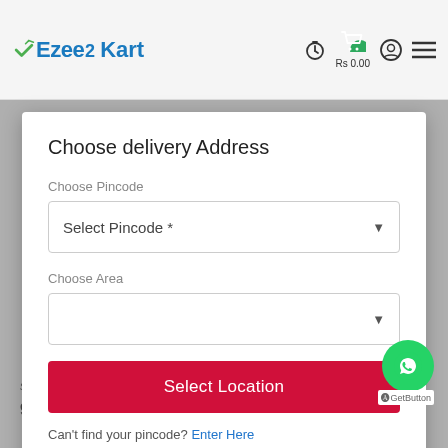EzeeKart — Rs 0.00
Choose delivery Address
Choose Pincode
Select Pincode *
Choose Area
Select Location
Can't find your pincode? Enter Here
sale included in the item's description.
9. Misusing the site